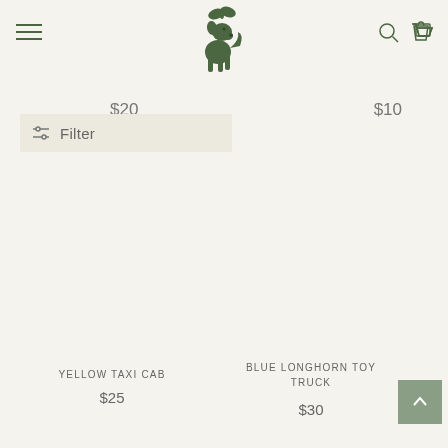Navigation header with hamburger menu, dog logo, search and cart icons
Filter
$20
$10
YELLOW TAXI CAB
$25
BLUE LONGHORN TOY TRUCK
$30